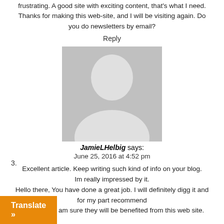frustrating. A good site with exciting content, that's what I need. Thanks for making this web-site, and I will be visiting again. Do you do newsletters by email?
Reply
[Figure (illustration): Default grey avatar placeholder image showing silhouette of a person]
3.
JamieLHelbig says: June 25, 2016 at 4:52 pm
Excellent article. Keep writing such kind of info on your blog. Im really impressed by it. Hello there, You have done a great job. I will definitely digg it and for my part recommend my friends. I am sure they will be benefited from this web site.
Translate »